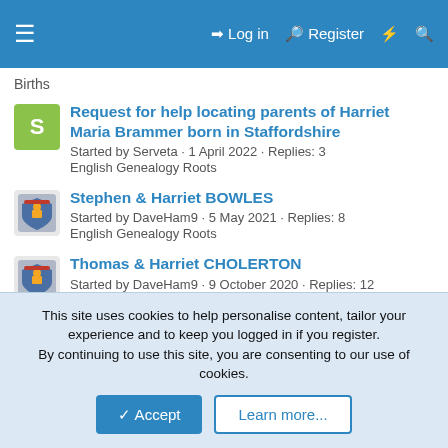≡  Log in  Register  ⚡  🔍
Births
Request for help locating parents of Harriet Maria Brammer born in Staffordshire
Started by Serveta · 1 April 2022 · Replies: 3
English Genealogy Roots
Stephen & Harriet BOWLES
Started by DaveHam9 · 5 May 2021 · Replies: 8
English Genealogy Roots
Thomas & Harriet CHOLERTON
Started by DaveHam9 · 9 October 2020 · Replies: 12
Deaths
Harriet SAXBY
Started by DaveHam9 · 20 November 2019 · Replies: 8
Australia & New Zealand Genealogy Roots
This site uses cookies to help personalise content, tailor your experience and to keep you logged in if you register.
By continuing to use this site, you are consenting to our use of cookies.
Accept  Learn more...